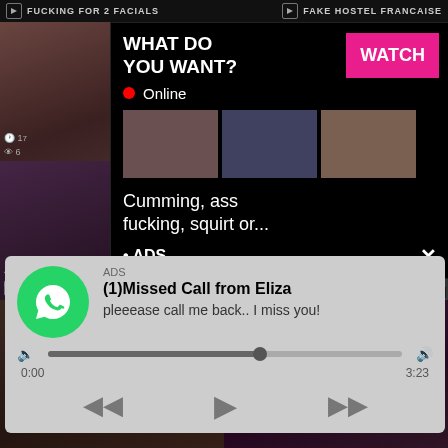FUCKING FOR 2 FACIALS | FAKE HOSTEL FRANCAISE
[Figure (screenshot): Video thumbnail grid showing adult content website with overlaid advertisement popups]
WHAT DO YOU WANT?
WATCH
Online
Cumming, ass fucking, squirt or...
• ADS
ADS
(1)Missed Call from Eliza
pleeease call me back.. I miss you!
0:00
3:23